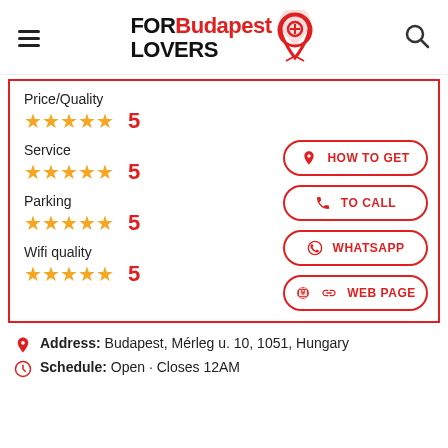FORBudapest LOVERS
Price/Quality ★★★★★ 5
Service ★★★★★ 5
Parking ★★★★★ 5
Wifi quality ★★★★★ 5
HOW TO GET
TO CALL
WHATSAPP
WEB PAGE
Address: Budapest, Mérleg u. 10, 1051, Hungary
Schedule: Open · Closes 12AM